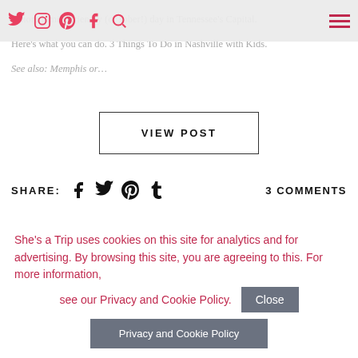a more family-friendly (or sober!) day in Tennessee's Capital. Here's what you can do. 3 Things To Do in Nashville with Kids. See also: Memphis or...
[Figure (screenshot): Navigation bar with social media icons (Twitter, Instagram, Pinterest, Facebook, Search) and hamburger menu in red]
VIEW POST
SHARE:  3 COMMENTS
MARCH 18, 2018
Volunteering in Nashville: The Best
She's a Trip uses cookies on this site for analytics and for advertising. By browsing this site, you are agreeing to this. For more information, see our Privacy and Cookie Policy.
Close
Privacy and Cookie Policy